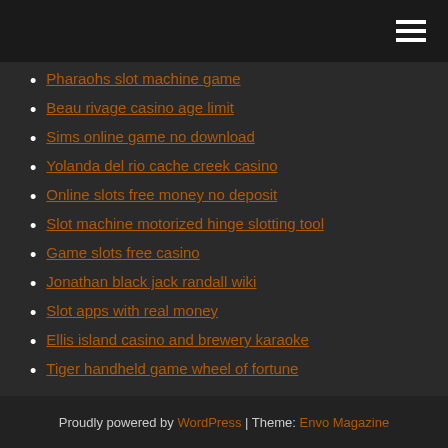[hamburger menu icon]
Pharaohs slot machine game
Beau rivage casino age limit
Sims online game no download
Yolanda del rio cache creek casino
Online slots free money no deposit
Slot machine motorized hinge slotting tool
Game slots free casino
Jonathan black jack randall wiki
Slot apps with real money
Ellis island casino and brewery karaoke
Tiger handheld game wheel of fortune
Proudly powered by WordPress | Theme: Envo Magazine